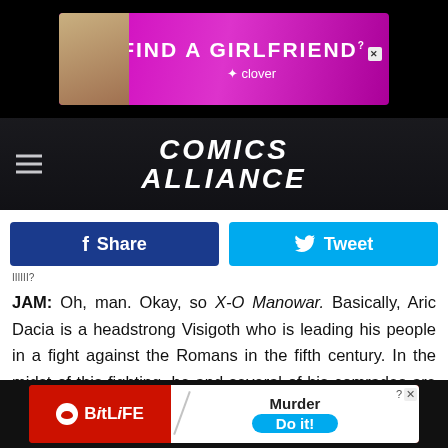[Figure (other): Find a Girlfriend advertisement banner with Clover branding on black background]
[Figure (other): Comics Alliance website header logo on black background with hamburger menu]
[Figure (other): Facebook Share and Twitter Tweet buttons]
IIIIII?
JAM: Oh, man. Okay, so X-O Manowar. Basically, Aric Dacia is a headstrong Visigoth who is leading his people in a fight against the Romans in the fifth century. In the midst of this fighting, he and several of his comrades are captured by an alien race called The Vine and held in space for several years. Aric eventually leads a rebellion against The Vine and manages to steal their greatest weapon, a powerful suit called
[Figure (other): BitLife advertisement banner with Murder Do it! text]